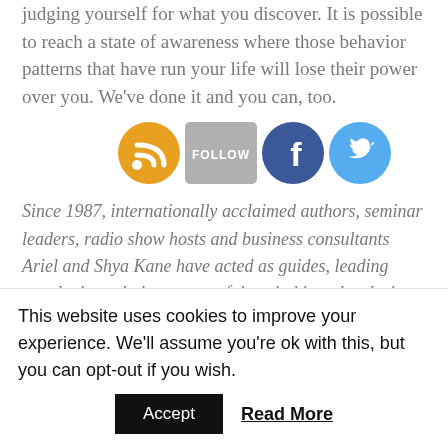judging yourself for what you discover. It is possible to reach a state of awareness where those behavior patterns that have run your life will lose their power over you. We've done it and you can, too.
[Figure (other): Row of four social media icon buttons: RSS (orange), FOLLOW (grey), Facebook (blue), Twitter (light blue)]
Since 1987, internationally acclaimed authors, seminar leaders, radio show hosts and business consultants Ariel and Shya Kane have acted as guides, leading people through the swamp of the mind into the clarity and brilliance of the moment. Find out more
This website uses cookies to improve your experience. We'll assume you're ok with this, but you can opt-out if you wish.
Accept  Read More